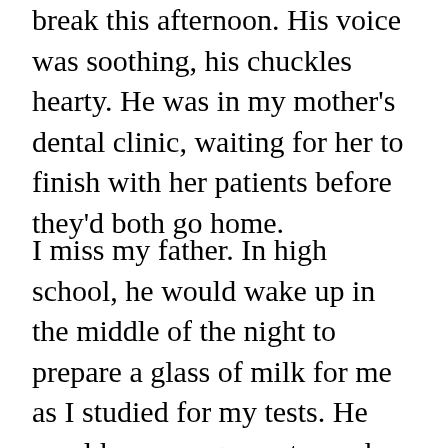break this afternoon. His voice was soothing, his chuckles hearty. He was in my mother's dental clinic, waiting for her to finish with her patients before they'd both go home.
I miss my father. In high school, he would wake up in the middle of the night to prepare a glass of milk for me as I studied for my tests. He would encourage me to read my Bible daily. He would force me to finish the food on my plate. And during the hot afternoons, he would bring me cold